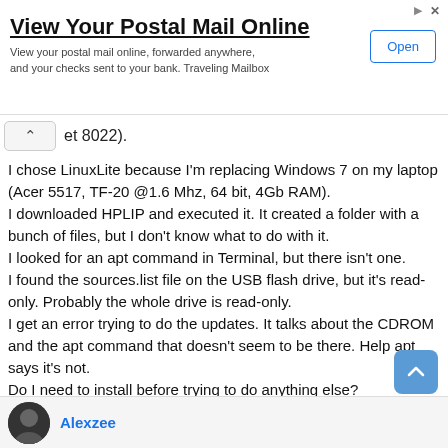[Figure (infographic): Advertisement banner: 'View Your Postal Mail Online' with Open button]
et 8022).
I chose LinuxLite because I'm replacing Windows 7 on my laptop (Acer 5517, TF-20 @1.6 Mhz, 64 bit, 4Gb RAM).
I downloaded HPLIP and executed it. It created a folder with a bunch of files, but I don't know what to do with it.
I looked for an apt command in Terminal, but there isn't one.
I found the sources.list file on the USB flash drive, but it's read-only. Probably the whole drive is read-only.
I get an error trying to do the updates. It talks about the CDROM and the apt command that doesn't seem to be there. Help apt says it's not.
Do I need to install before trying to do anything else?
Thanks for your quick response and your help. I'll get this working.
Alexzee